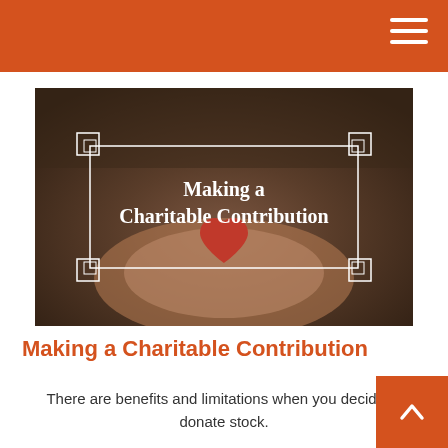[Figure (photo): A person holding a red heart with hands, dark-toned background, with a decorative white border frame overlay and centered text reading 'Making a Charitable Contribution' in white serif font]
Making a Charitable Contribution
There are benefits and limitations when you decide to donate stock.